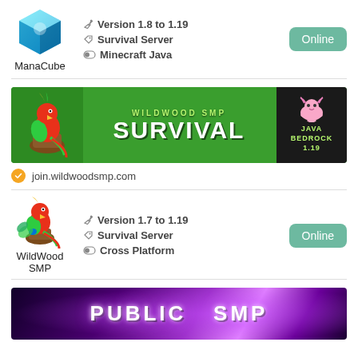[Figure (screenshot): ManaCube server logo - glowing blue cube]
ManaCube
Version 1.8 to 1.19
Survival Server
Minecraft Java
Online
[Figure (screenshot): WildWood SMP banner - green background with parrot mascot, SURVIVAL text, axolotl mascot, JAVA BEDROCK 1.19 text]
join.wildwoodsmp.com
[Figure (screenshot): WildWood SMP server logo - parrot on stump]
WildWood SMP
Version 1.7 to 1.19
Survival Server
Cross Platform
Online
[Figure (screenshot): Public SMP banner - dark purple background with glowing purple effects and PUBLIC ... SMP text]